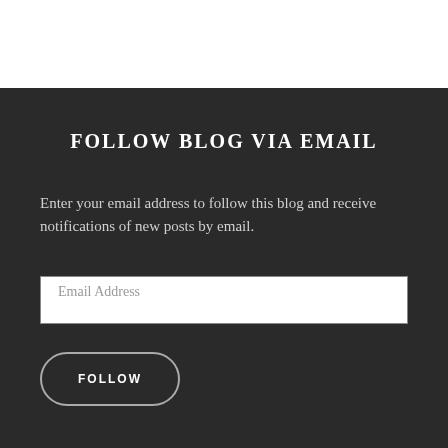FOLLOW BLOG VIA EMAIL
Enter your email address to follow this blog and receive notifications of new posts by email.
Email Address
FOLLOW